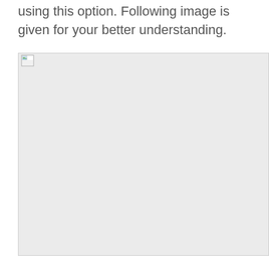using this option. Following image is given for your better understanding.
[Figure (screenshot): A broken/placeholder image box with a small image icon in the top-left corner, showing a large empty light gray rectangle representing a missing or unloaded image.]